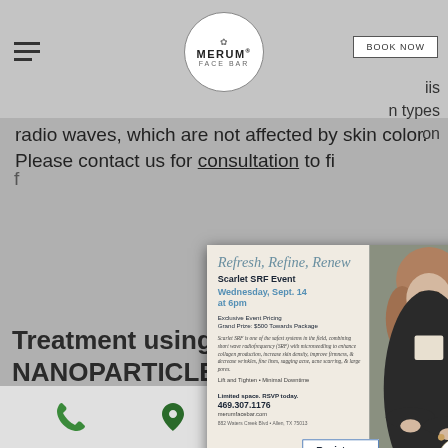MERUM FACE BAR | BOOK NOW | iis n types on
radio waves, which are not affected by skin color. Please contact us for consultation to find out if you are a candidate for Scarlet SRF. We recommend scheduling your first consultation with our doctor during which we will fully assess your treatment area and determine the best treatment plan for you.
[Figure (infographic): Popup advertisement for Merum Face Bar Scarlet SRF Event. Text reads: Refresh, Refine, Renew. Scarlet SRF Event. Wednesday, Sept. 14 at 6pm. Exclusive Event Pricing. Grand Prize: $500 Towards Package. Scarlet SRF is one of the safest systems in the field, combining short wave radiofrequency (SRF) with microneedling to enhance collagen production, increase skin density, improve firmness, & decrease wrinkles, fine lines, sagging acne, acne scarring, & large pores. Lift and Tighten • Minimal Downtime. Limited space. RSVP today. 469.307.1176. merumfacebar.com. 882 Waters Creek Blvd • Allen, TX 75013. Register ... button. Merum Face Bar logo.]
Treatment using BIOMIMETIC NANOPARTICLE TECHNOLOGY.
Phone | Location | Email | Google